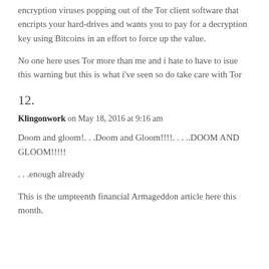encryption viruses popping out of the Tor client software that encripts your hard-drives and wants you to pay for a decryption key using Bitcoins in an effort to force up the value.
No one here uses Tor more than me and i hate to have to isue this warning but this is what i've seen so do take care with Tor
12.
Klingonwork on May 18, 2016 at 9:16 am
Doom and gloom!. . .Doom and Gloom!!!!. . . ..DOOM AND GLOOM!!!!!
. . .enough already
This is the umpteenth financial Armageddon article here this month.